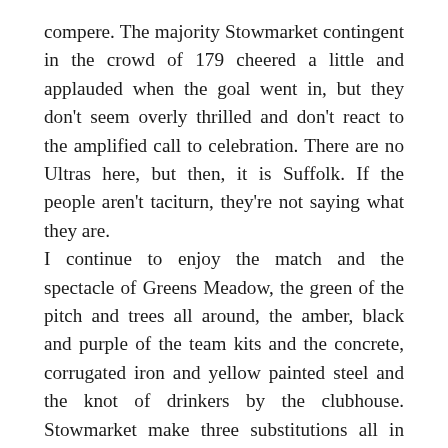compere. The majority Stowmarket contingent in the crowd of 179 cheered a little and applauded when the goal went in, but they don't seem overly thrilled and don't react to the amplified call to celebration. There are no Ultras here, but then, it is Suffolk. If the people aren't taciturn, they're not saying what they are.
I continue to enjoy the match and the spectacle of Greens Meadow, the green of the pitch and trees all around, the amber, black and purple of the team kits and the concrete, corrugated iron and yellow painted steel and the knot of drinkers by the clubhouse. Stowmarket make three substitutions all in one go and then at about twenty five to five Josh Mayhew completes his hat-trick and the PA gets positively frenzied as it launches Nirvana's “Smells like teen spirit” at us and Grunge meets the flat cap, as Stowmarket meets Seattle.